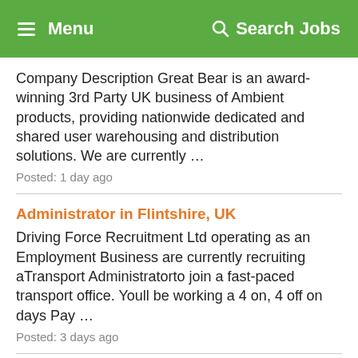Menu  Search Jobs
Company Description Great Bear is an award-winning 3rd Party UK business of Ambient products, providing nationwide dedicated and shared user warehousing and distribution solutions. We are currently …
Posted: 1 day ago
Administrator in Flintshire, UK
Driving Force Recruitment Ltd operating as an Employment Business are currently recruiting aTransport Administratorto join a fast-paced transport office. Youll be working a 4 on, 4 off on days Pay …
Posted: 3 days ago
HGV Class 1 Livestock Driver in Flintshire, UK
Driving Force Recruitment Ltd operating as an Employment Business are currently recruiting for